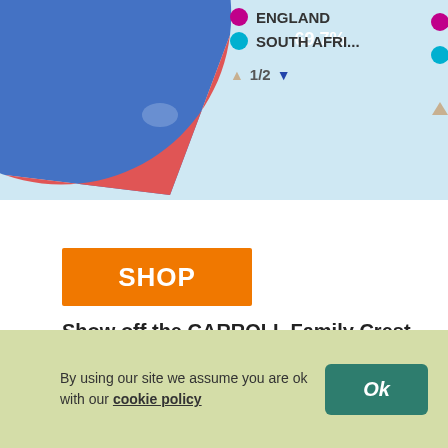[Figure (pie-chart): Pie chart partially visible, large blue segment labeled 69.7%, small red segment at top. Legend shows ENGLAND (magenta) and SOUTH AFRI... (cyan). Navigation arrows 1/2.]
[Figure (other): Orange SHOP button]
Show off the CARROLL Family Crest…
Wear your crest with pride...plenty of products to choose from
By using our site we assume you are ok with our cookie policy